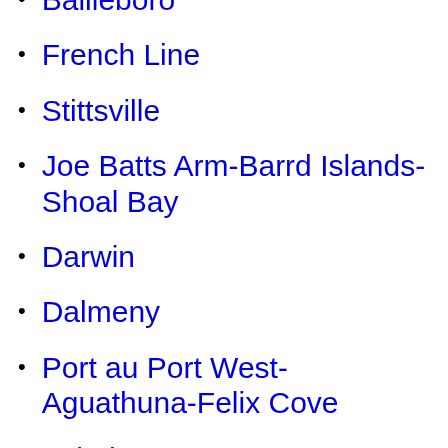Bailleboro
French Line
Stittsville
Joe Batts Arm-Barrd Islands-Shoal Bay
Darwin
Dalmeny
Port au Port West-Aguathuna-Felix Cove
Val Therese
Katherine East
Caronport